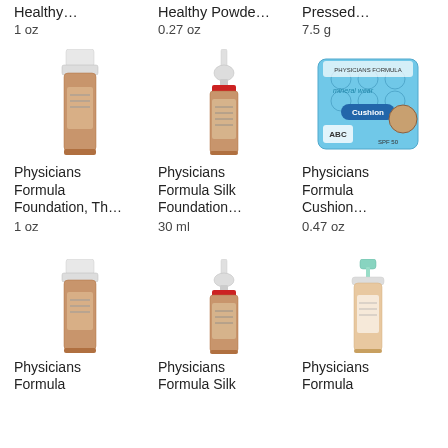Healthy…
1 oz
Healthy Powde…
0.27 oz
Pressed…
7.5 g
[Figure (photo): Physicians Formula Foundation bottle, brown tinted liquid foundation in clear/white cap bottle]
[Figure (photo): Physicians Formula Silk Foundation dropper bottle, tan/beige serum with dropper cap and red label]
[Figure (photo): Physicians Formula Cushion compact, blue quilted compact packaging with SPF 50]
Physicians Formula Foundation, Th…
1 oz
Physicians Formula Silk Foundation…
30 ml
Physicians Formula Cushion…
0.47 oz
[Figure (photo): Physicians Formula Foundation bottle, same style as above]
[Figure (photo): Physicians Formula Silk Foundation dropper bottle, same style as above]
[Figure (photo): Physicians Formula spray/pump bottle with mint green cap, light beige foundation]
Physicians Formula
Physicians Formula Silk
Physicians Formula